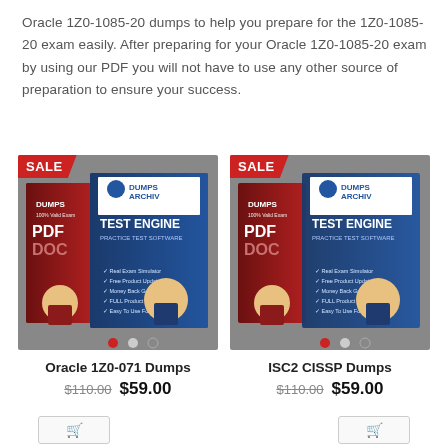Oracle 1Z0-1085-20 dumps to help you prepare for the 1Z0-1085-20 exam easily. After preparing for your Oracle 1Z0-1085-20 exam by using our PDF you will not have to use any other source of preparation to ensure your success.
[Figure (photo): DumpsArchive product box showing PDF and Test Engine with SALE badge - Oracle 1Z0-071 Dumps]
Oracle 1Z0-071 Dumps
$110.00  $59.00
[Figure (photo): DumpsArchive product box showing PDF and Test Engine with SALE badge - ISC2 CISSP Dumps]
ISC2 CISSP Dumps
$110.00  $59.00